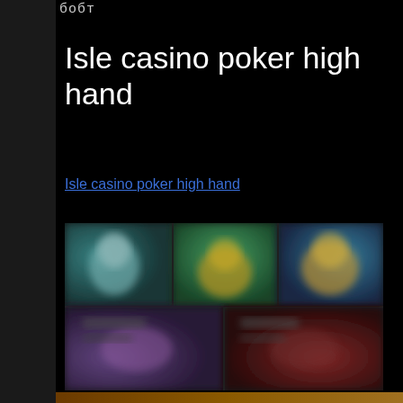бобт
Isle casino poker high hand
Isle casino poker high hand
[Figure (screenshot): Blurred screenshot of a gaming/casino app showing colorful animated characters and game thumbnails on a dark background, arranged in a grid layout.]